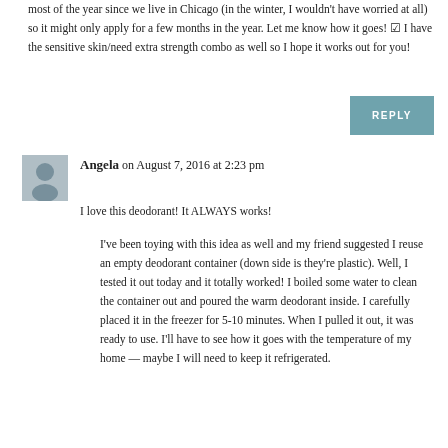most of the year since we live in Chicago (in the winter, I wouldn't have worried at all) so it might only apply for a few months in the year. Let me know how it goes! ☺ I have the sensitive skin/need extra strength combo as well so I hope it works out for you!
REPLY
Angela on August 7, 2016 at 2:23 pm
I love this deodorant! It ALWAYS works!
I've been toying with this idea as well and my friend suggested I reuse an empty deodorant container (down side is they're plastic). Well, I tested it out today and it totally worked! I boiled some water to clean the container out and poured the warm deodorant inside. I carefully placed it in the freezer for 5-10 minutes. When I pulled it out, it was ready to use. I'll have to see how it goes with the temperature of my home — maybe I will need to keep it refrigerated.